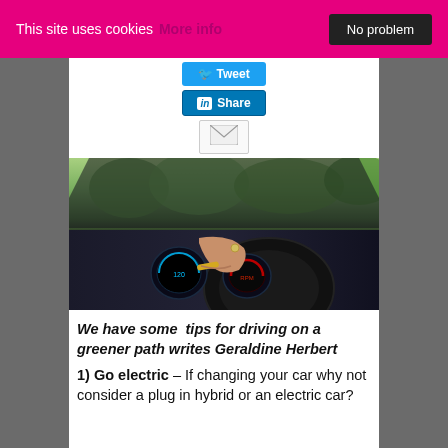This site uses cookies More info  No problem
[Figure (screenshot): Social share buttons: Tweet button (blue), LinkedIn Share button (blue), and email envelope icon button]
[Figure (photo): Interior view of a car with a person's hand on the steering wheel, wearing bracelets and a ring, with illuminated dashboard gauges and green trees visible through the windshield]
We have some  tips for driving on a greener path writes Geraldine Herbert
1) Go electric – If changing your car why not consider a plug in hybrid or an electric car?